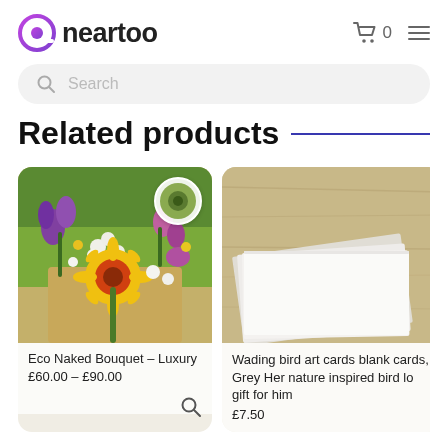[Figure (logo): Neartoo logo with stylized 'a' icon in purple/pink gradient and bold text 'neartoo']
[Figure (screenshot): Shopping cart icon with '0' count and hamburger menu icon in header]
[Figure (screenshot): Search bar with magnifying glass icon and placeholder text 'Search']
Related products
[Figure (photo): Eco Naked Bouquet – Luxury: colorful wildflower bouquet with sunflower, purple, white and yellow flowers on natural background. Small circular avatar image in top right corner.]
Eco Naked Bouquet – Luxury
£60.00 – £90.00
[Figure (photo): Partial view of Wading bird art cards product – stacked white greeting cards on wooden surface]
Wading bird art cards blank cards, Grey Heron nature inspired bird lo gift for him
£7.50